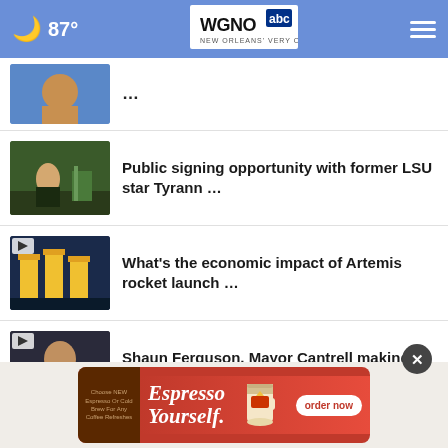WGNO ABC — New Orleans' Very Own — 87°
[Figure (screenshot): Partial news story thumbnail at top, cropped]
Public signing opportunity with former LSU star Tyrann …
What's the economic impact of Artemis rocket launch …
Shaun Ferguson, Mayor Cantrell making New Orleans …
More Stories ›
[Figure (photo): Advertisement banner: Espresso Yourself. Order now. Burger King coffee promotion.]